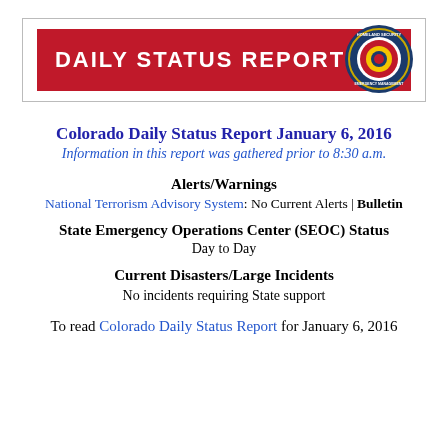[Figure (logo): Colorado Daily Status Report banner logo with red background, white bold text 'DAILY STATUS REPORT', and a circular Colorado Homeland Security and Emergency Management seal on the right]
Colorado Daily Status Report January 6, 2016
Information in this report was gathered prior to 8:30 a.m.
Alerts/Warnings
National Terrorism Advisory System: No Current Alerts | Bulletin
State Emergency Operations Center (SEOC) Status
Day to Day
Current Disasters/Large Incidents
No incidents requiring State support
To read Colorado Daily Status Report for January 6, 2016